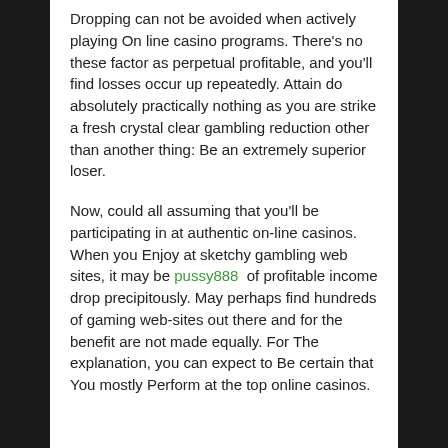Dropping can not be avoided when actively playing On line casino programs. There's no these factor as perpetual profitable, and you'll find losses occur up repeatedly. Attain do absolutely practically nothing as you are strike a fresh crystal clear gambling reduction other than another thing: Be an extremely superior loser.
Now, could all assuming that you'll be participating in at authentic on-line casinos. When you Enjoy at sketchy gambling web sites, it may be pussy888 of profitable income drop precipitously. May perhaps find hundreds of gaming web-sites out there and for the benefit are not made equally. For The explanation, you can expect to Be certain that You mostly Perform at the top online casinos.